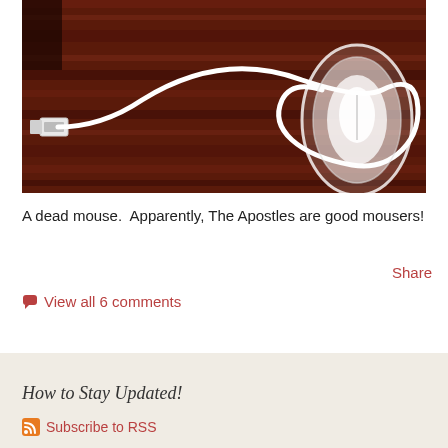[Figure (photo): A white USB computer mouse lying on a dark wood-grain red-brown desk surface. The white USB cable is loosely coiled in a large loop shape on the desktop. The mouse is partially see-through/translucent and illuminated from within.]
A dead mouse.  Apparently, The Apostles are good mousers!
Share
View all 6 comments
How to Stay Updated!
Subscribe to RSS